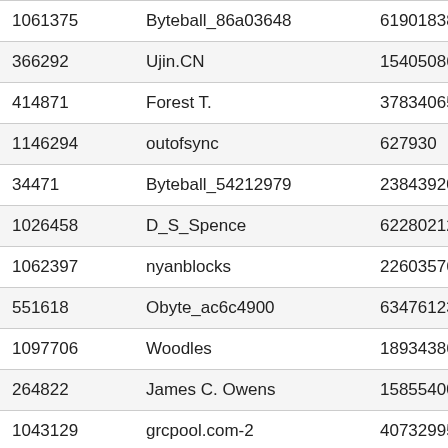| 1061375 | Byteball_86a03648 | 61901838 | 3256 |
| 366292 | Ujin.CN | 154050869 | 3218 |
| 414871 | Forest T. | 37834065 | 3187 |
| 1146294 | outofsync | 627930 | 3156 |
| 34471 | Byteball_54212979 | 238439205 | 3141 |
| 1026458 | D_S_Spence | 62280212 | 3057 |
| 1062397 | nyanblocks | 22603576 | 3040 |
| 551618 | Obyte_ac6c4900 | 63476123 | 2963 |
| 1097706 | Woodles | 189343869 | 2698 |
| 264822 | James C. Owens | 158554004 | 2645 |
| 1043129 | grcpool.com-2 | 4073299551 | 2616 |
| 1081984 | zweitaktfan | 59172380 | 2546 |
| 362674 | Byteball_6393265 | 75224058 | 2481 |
| 1142751 | cpyamaoka | 10754389 | 2437 |
| 640689 | Obyte_93e95223 | 137239425 | 2412 |
| 1059927 | polarbeardi | 95551530 | 2390 |